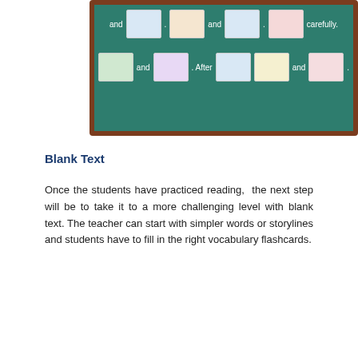[Figure (illustration): A green chalkboard with a brown wooden frame showing flashcard-based sentence building exercise. Row 1: 'and' [illustration] '.' [illustration] 'and' [illustration] '.' [illustration] 'carefully.' Row 2: [illustration] 'and' [illustration] '. After' [illustration] [illustration] 'and' [illustration] '.']
Blank Text
Once the students have practiced reading,  the next step will be to take it to a more challenging level with blank text. The teacher can start with simpler words or storylines and students have to fill in the right vocabulary flashcards.
[Figure (illustration): A green chalkboard with brown wooden frame. Title: 'Teaching phrasal Verbs 2 focusing on past tense'. Content rows show: 'Today I' [car image] 'with my car. My dog' [dog image] 'me. Then my car' [car image] '. I had to' [person image] '. I tried to' [person image] 'what' followed by more text and images below.]